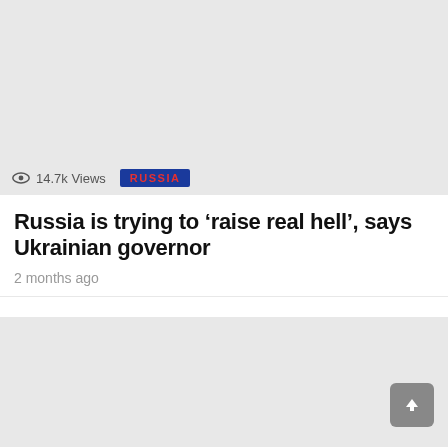[Figure (photo): Gray placeholder image for article thumbnail]
14.7k Views
RUSSIA
Russia is trying to ‘raise real hell’, says Ukrainian governor
2 months ago
[Figure (photo): Gray placeholder image for second article thumbnail]